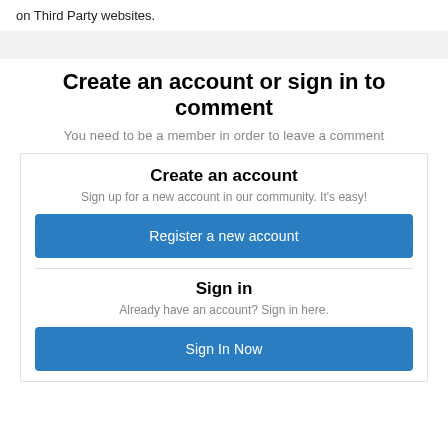on Third Party websites.
Create an account or sign in to comment
You need to be a member in order to leave a comment
Create an account
Sign up for a new account in our community. It's easy!
Register a new account
Sign in
Already have an account? Sign in here.
Sign In Now